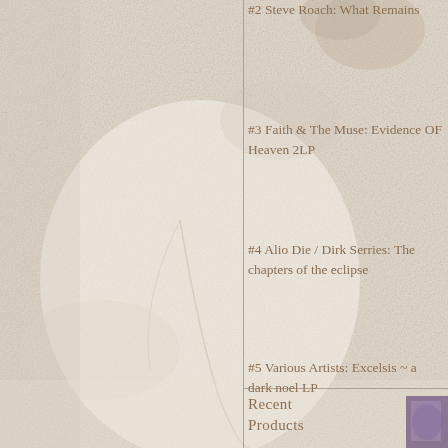[Figure (photo): Background photograph of a light-colored textured surface with faint impressions, possibly a leaf or hand print, in beige and pale tones covering the left two-thirds of the page]
#2 Steve Roach: What Remains
#3 Faith & The Muse: Evidence OF Heaven 2LP
#4 Alio Die / Dirk Serries: The chapters of the eclipse
#5 Various Artists: Excelsis ~ a dark noel LP
Recent Products
[Figure (photo): Small partial thumbnail image visible at bottom right corner, showing purple/blue tones]